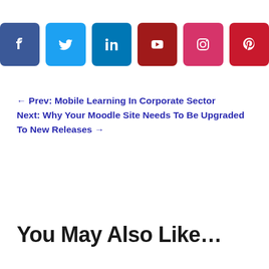[Figure (infographic): Row of six social media share buttons: Facebook (blue), Twitter (light blue), LinkedIn (dark blue), YouTube (dark red), Instagram (pink/magenta), Pinterest (red), each as rounded square icons with white SVG logos]
← Prev: Mobile Learning In Corporate Sector
Next: Why Your Moodle Site Needs To Be Upgraded To New Releases →
You May Also Like…